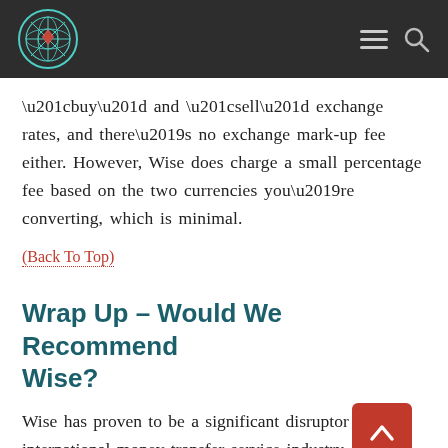[Logo] [Menu] [Search]
“buy” and “sell” exchange rates, and there’s no exchange mark-up fee either. However, Wise does charge a small percentage fee based on the two currencies you’re converting, which is minimal.
(Back To Top)
Wrap Up – Would We Recommend Wise?
Wise has proven to be a significant disruptor in the international money transfer service industry. And it’s grown explosively in recent years.